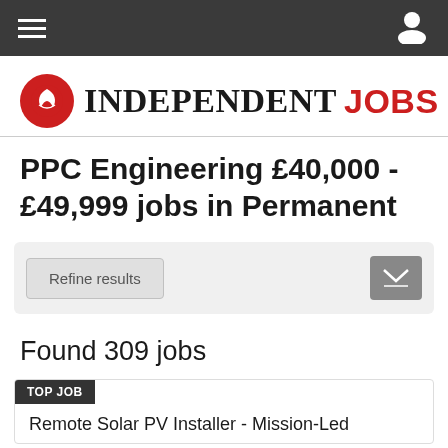Navigation bar with hamburger menu and user icon
[Figure (logo): Independent Jobs logo with red circular eagle icon, 'INDEPENDENT' in black serif and 'JOBS' in red sans-serif]
PPC Engineering £40,000 - £49,999 jobs in Permanent
Refine results
Found 309 jobs
TOP JOB
Remote Solar PV Installer - Mission-Led